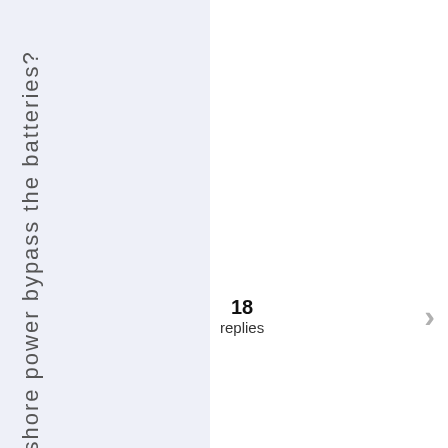Does shore power bypass the batteries?
18 replies